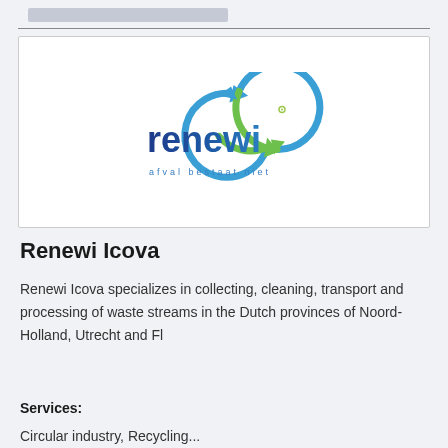[Figure (logo): Renewi logo with circular recycling arrow in blue-to-green gradient, text 'renewi' in bold blue, tagline 'afval bestaat niet' in blue below]
Renewi Icova
Renewi Icova specializes in collecting, cleaning, transport and processing of waste streams in the Dutch provinces of Noord-Holland, Utrecht and Fl
Services:
Circular industry, Recycling...